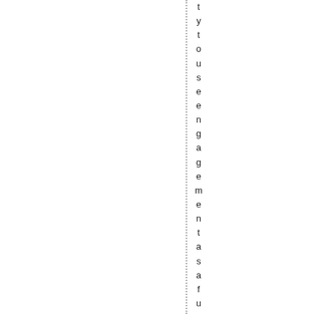t y t o u s e e n g a g e m e n t a s a f u n d a m e n t a